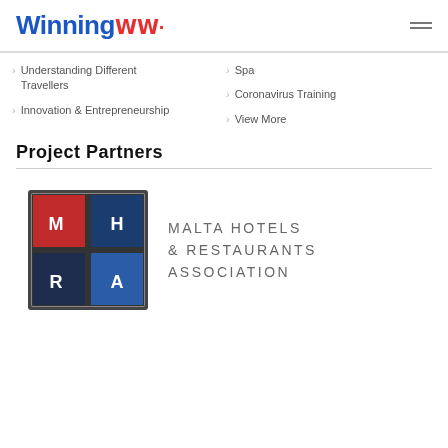Winning (logo) — hamburger menu
Understanding Different Travellers
Innovation & Entrepreneurship
Spa
Coronavirus Training
View More
Project Partners
[Figure (logo): MHRA (Malta Hotels & Restaurants Association) logo — four colored quadrants: red top-left with M, blue top-right with H, dark blue bottom-left with R, medium blue bottom-right with A]
MALTA HOTELS & RESTAURANTS ASSOCIATION